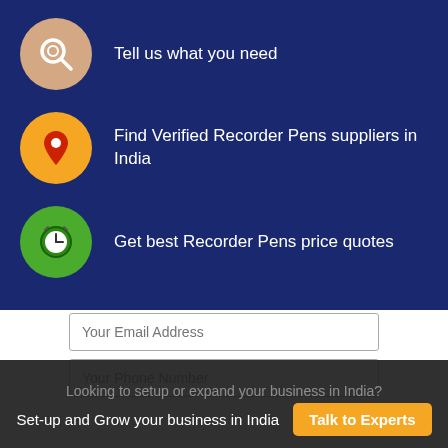Tell us what you need
Find Verified Recorder Pens suppliers in India
Get best Recorder Pens price quotes
Your Email Address
Your Phone Number
Looking to setup or expand your business in India?
Set-up and Grow your business in India
Talk to Experts